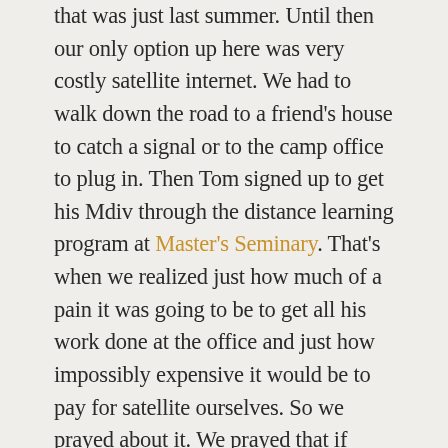that was just last summer. Until then our only option up here was very costly satellite internet. We had to walk down the road to a friend's house to catch a signal or to the camp office to plug in. Then Tom signed up to get his Mdiv through the distance learning program at Master's Seminary. That's when we realized just how much of a pain it was going to be to get all his work done at the office and just how impossibly expensive it would be to pay for satellite ourselves. So we prayed about it. We prayed that if seminary was really God's will for Tom that He would provide the way to get it done. THE NEXT DAY Kingsburg Media Foundation was at the camp, scouting it out to see if we were a possible candidate for their